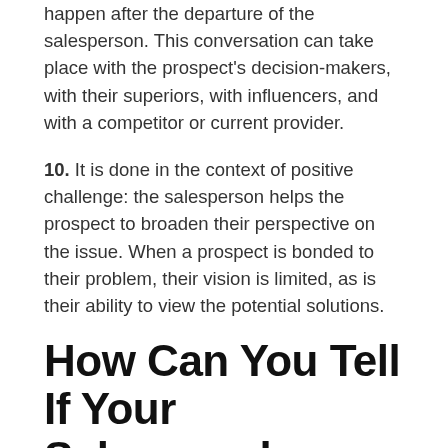happen after the departure of the salesperson. This conversation can take place with the prospect's decision-makers, with their superiors, with influencers, and with a competitor or current provider.
10. It is done in the context of positive challenge: the salesperson helps the prospect to broaden their perspective on the issue. When a prospect is bonded to their problem, their vision is limited, as is their ability to view the potential solutions.
How Can You Tell If Your Salespeople Have Quality Conversations?
The impression that your salespeople have of their own conversations with potential customers is often tinged with optimism. However, when you run the sales force, you cannot take this optimism at face value as you assess